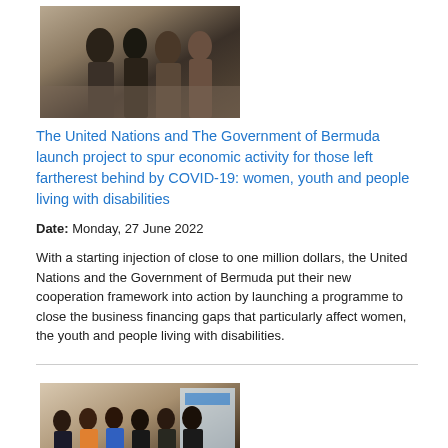[Figure (photo): Group of people gathered indoors, viewed from behind, at what appears to be a formal event]
The United Nations and The Government of Bermuda launch project to spur economic activity for those left fartherest behind by COVID-19: women, youth and people living with disabilities
Date: Monday, 27 June 2022
With a starting injection of close to one million dollars, the United Nations and the Government of Bermuda put their new cooperation framework into action by launching a programme to close the business financing gaps that particularly affect women, the youth and people living with disabilities.
[Figure (photo): Group of six people standing together indoors in front of a banner, at a formal event]
Joint SDG Fund Project on Building Back Equal through Innovative